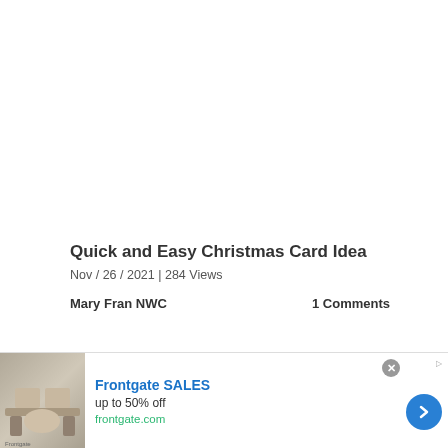Quick and Easy Christmas Card Idea
Nov / 26 / 2021 | 284 Views
Mary Fran NWC
1 Comments
[Figure (photo): Partial view of a Christmas card image with red star/bow visible at top]
[Figure (photo): Advertisement banner for Frontgate SALES showing outdoor furniture with fire pit]